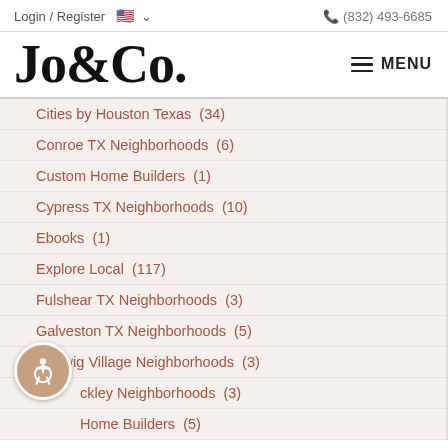Login / Register   🇺🇸 ∨      📞 (832) 493-6685
Jo&Co.
≡ MENU
Cities by Houston Texas  (34)
Conroe TX Neighborhoods  (6)
Custom Home Builders  (1)
Cypress TX Neighborhoods  (10)
Ebooks  (1)
Explore Local  (117)
Fulshear TX Neighborhoods  (3)
Galveston TX Neighborhoods  (5)
Hedwig Village Neighborhoods  (3)
...ckley Neighborhoods  (3)
Home Builders  (5)